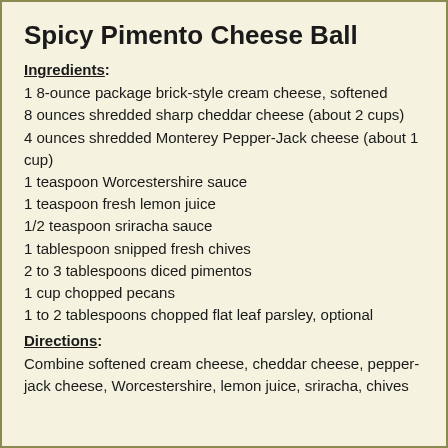Spicy Pimento Cheese Ball
Ingredients:
1 8-ounce package brick-style cream cheese, softened
8 ounces shredded sharp cheddar cheese (about 2 cups)
4 ounces shredded Monterey Pepper-Jack cheese (about 1 cup)
1 teaspoon Worcestershire sauce
1 teaspoon fresh lemon juice
1/2 teaspoon sriracha sauce
1 tablespoon snipped fresh chives
2 to 3 tablespoons diced pimentos
1 cup chopped pecans
1 to 2 tablespoons chopped flat leaf parsley, optional
Directions:
Combine softened cream cheese, cheddar cheese, pepper-jack cheese, Worcestershire, lemon juice, sriracha, chives